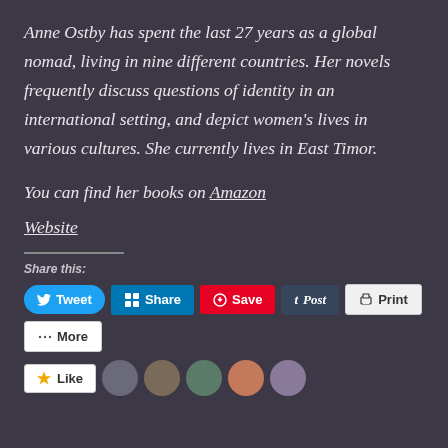Anne Ostby has spent the last 27 years as a global nomad, living in nine different countries. Her novels frequently discuss questions of identity in an international setting, and depict women's lives in various cultures. She currently lives in East Timor.
You can find her books on Amazon
Website
Share this:
Tweet  Share  Save  Post  Print  More
Like